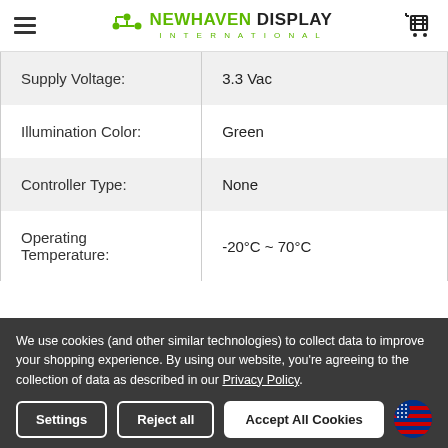Newhaven Display International
| Property | Value |
| --- | --- |
| Supply Voltage: | 3.3 Vac |
| Illumination Color: | Green |
| Controller Type: | None |
| Operating Temperature: | -20°C ~ 70°C |
We use cookies (and other similar technologies) to collect data to improve your shopping experience. By using our website, you're agreeing to the collection of data as described in our Privacy Policy.
Settings | Reject all | Accept All Cookies